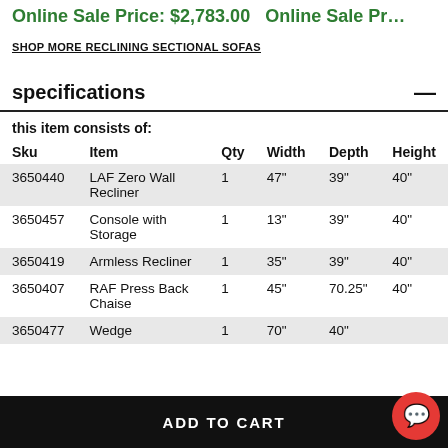Online Sale Price: $2,783.00   Online Sale Pr…
SHOP MORE RECLINING SECTIONAL SOFAS
specifications
this item consists of:
| Sku | Item | Qty | Width | Depth | Height |
| --- | --- | --- | --- | --- | --- |
| 3650440 | LAF Zero Wall Recliner | 1 | 47" | 39" | 40" |
| 3650457 | Console with Storage | 1 | 13" | 39" | 40" |
| 3650419 | Armless Recliner | 1 | 35" | 39" | 40" |
| 3650407 | RAF Press Back Chaise | 1 | 45" | 70.25" | 40" |
| 3650477 | Wedge | 1 | 70" | 40" | … |
ADD TO CART